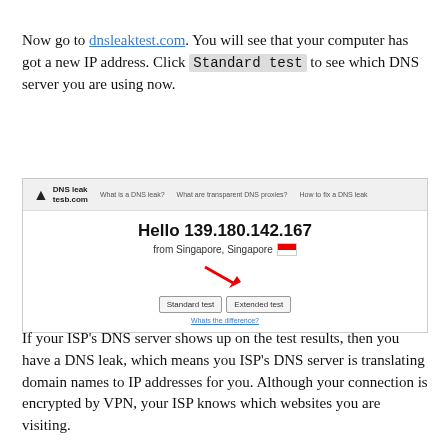Now go to dnsleaktest.com. You will see that your computer has got a new IP address. Click Standard test to see which DNS server you are using now.
[Figure (screenshot): Screenshot of dnsleaktest.com website showing navigation header with logo and menu links (What is a DNS leak?, What are transparent DNS proxies?, How to fix a DNS leak), and main content showing 'Hello 139.180.142.167 from Singapore, Singapore' with a red arrow pointing to Standard test and Extended test buttons, and a 'Whats the difference?' link below.]
If your ISP's DNS server shows up on the test results, then you have a DNS leak, which means you ISP's DNS server is translating domain names to IP addresses for you. Although your connection is encrypted by VPN, your ISP knows which websites you are visiting.